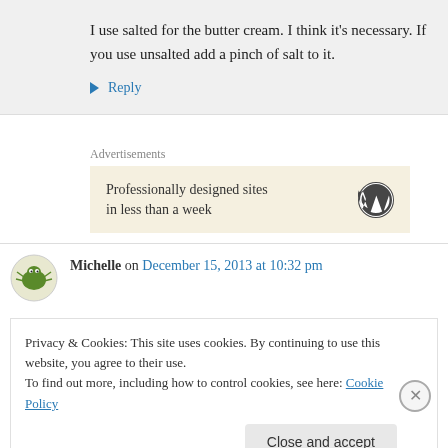I use salted for the butter cream. I think it's necessary. If you use unsalted add a pinch of salt to it.
↳ Reply
Advertisements
Professionally designed sites in less than a week
Michelle on December 15, 2013 at 10:32 pm
Privacy & Cookies: This site uses cookies. By continuing to use this website, you agree to their use.
To find out more, including how to control cookies, see here: Cookie Policy
Close and accept